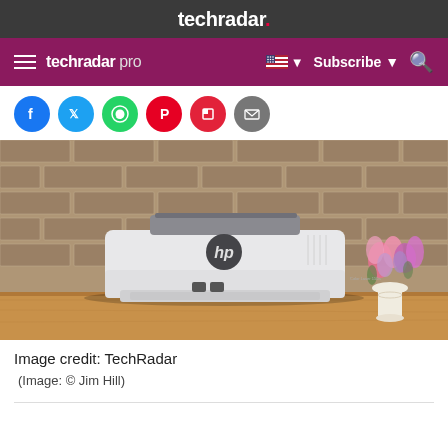techradar.
techradar pro  Subscribe
[Figure (photo): HP laser printer (white/grey) sitting on a wooden table in front of a brick wall, with a vase of pink and purple flowers on the right side.]
Image credit: TechRadar
(Image: © Jim Hill)